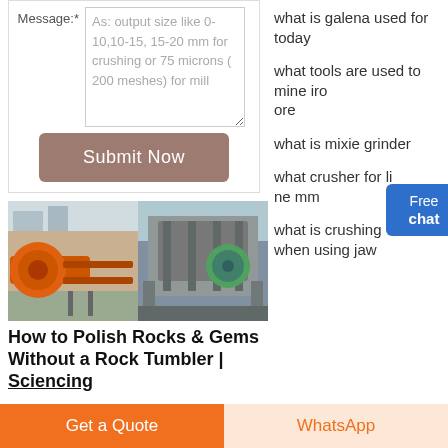Message:*
As: output size like 0-10,10-15, 15-20 mm for crushing or 75 microns ( 200 meshes) for mill
Submit Now
[Figure (photo): Two photos of industrial mining/crushing equipment - orange conveyor/drum machine on left, gray jaw crusher on right]
How to Polish Rocks & Gems Without a Rock Tumbler | Sciencing
what is galena used for today
what tools are used to mine iron ore
what is mixie grinder
what crusher for li ne mm
what is crushing when using jaw
Free chat
Get a Quote
WhatsApp